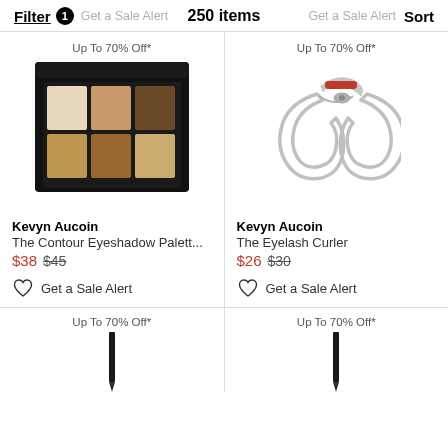Filter 1   Get a Sale Alert   250 items   Get a Sale Alert   Sort
Up To 70% Off*
[Figure (photo): Kevyn Aucoin The Contour Eyeshadow Palette - a black palette with 6 neutral eyeshadow shades (beige, peach, brown tones)]
Kevyn Aucoin
The Contour Eyeshadow Palett...
$38 $45
Get a Sale Alert
Up To 70% Off*
[Figure (photo): Kevyn Aucoin The Eyelash Curler - a silver metal eyelash curler with red accent]
Kevyn Aucoin
The Eyelash Curler
$26 $30
Get a Sale Alert
Up To 70% Off*
[Figure (photo): Partial view of a pencil or eyeliner product at bottom left]
Up To 70% Off*
[Figure (photo): Partial view of a pencil or eyeliner product at bottom right]